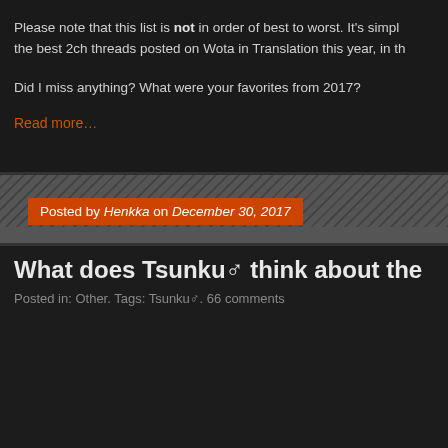Please note that this list is not in order of best to worst. It's simply the best 2ch threads posted on Wota in Translation this year, in th…
Did I miss anything? What were your favorites from 2017?
Read more…
Posted by Henkka on December 30, 2017
What does Tsunku♂ think about the…
Posted in: Other. Tags: Tsunku♂. 66 comments
[Figure (photo): Photo of people including a man smiling at the camera, with a whiteboard in the background showing some writing/swirls]